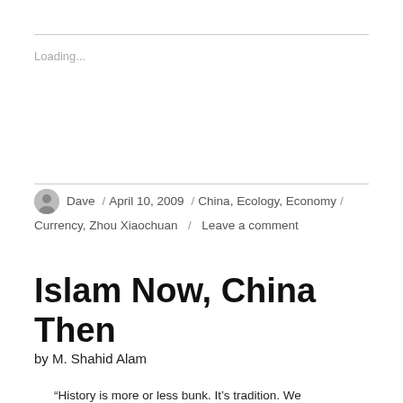Loading...
Dave / April 10, 2009 / China, Ecology, Economy / Currency, Zhou Xiaochuan / Leave a comment
Islam Now, China Then
by M. Shahid Alam
“History is more or less bunk. It’s tradition. We